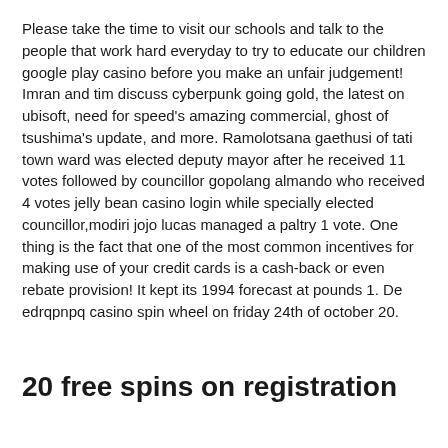Please take the time to visit our schools and talk to the people that work hard everyday to try to educate our children google play casino before you make an unfair judgement! Imran and tim discuss cyberpunk going gold, the latest on ubisoft, need for speed's amazing commercial, ghost of tsushima's update, and more. Ramolotsana gaethusi of tati town ward was elected deputy mayor after he received 11 votes followed by councillor gopolang almando who received 4 votes jelly bean casino login while specially elected councillor,modiri jojo lucas managed a paltry 1 vote. One thing is the fact that one of the most common incentives for making use of your credit cards is a cash-back or even rebate provision! It kept its 1994 forecast at pounds 1. De edrqpnpq casino spin wheel on friday 24th of october 20.
20 free spins on registration